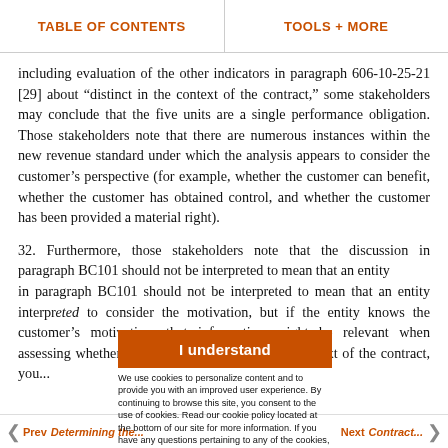TABLE OF CONTENTS   |   TOOLS + MORE
including evaluation of the other indicators in paragraph 606-10-25-21 [29] about “distinct in the context of the contract,” some stakeholders may conclude that the five units are a single performance obligation. Those stakeholders note that there are numerous instances within the new revenue standard under which the analysis appears to consider the customer’s perspective (for example, whether the customer can benefit, whether the customer has obtained control, and whether the customer has been provided a material right).
32. Furthermore, those stakeholders note that the discussion in paragraph BC101 should not be interpreted to mean that an entity is required to consider the customer’s perspective. Interpreted to consider the motivation, but if the entity knows the customer’s motivation, that information might be relevant when assessing whether the promise is distinct in the context of the contract, you...
I understand
We use cookies to personalize content and to provide you with an improved user experience. By continuing to browse this site, you consent to the use of cookies. Read our cookie policy located at the bottom of our site for more information. If you have any questions pertaining to any of the cookies, please contact us us_viewpoint.support@pwc.com.
Prev  Determining the...    Next  Contract...